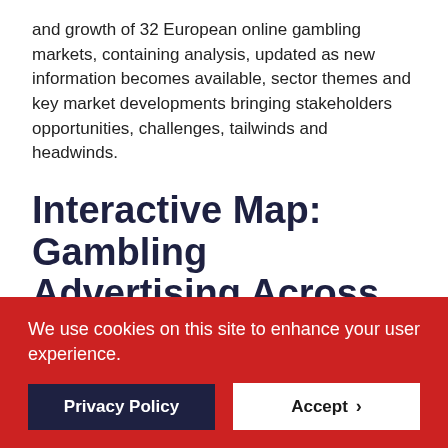and growth of 32 European online gambling markets, containing analysis, updated as new information becomes available, sector themes and key market developments bringing stakeholders opportunities, challenges, tailwinds and headwinds.
Interactive Map: Gambling Advertising Across Europe
Advertising is one of the most hotly discussed topics in the European gambling industry. In this map, VIXIO GamblingCompliance shows the current situation regarding gambling advertising in all jurisdictions. The map highlights
We use cookies on this site to enhance your user experience.